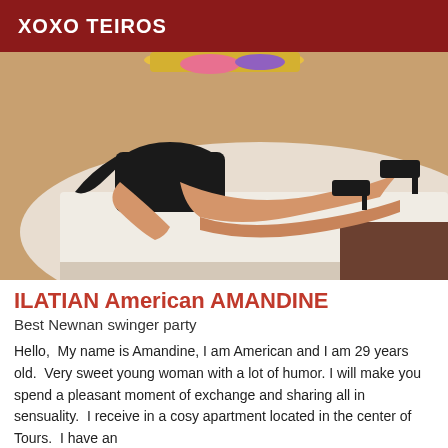XOXO TEIROS
[Figure (photo): A woman lying on a bed wearing a black dress and black high heels, posed on white bedding.]
ILATIAN American AMANDINE
Best Newnan swinger party
Hello,  My name is Amandine, I am American and I am 29 years old.  Very sweet young woman with a lot of humor. I will make you spend a pleasant moment of exchange and sharing all in sensuality.  I receive in a cosy apartment located in the center of Tours.  I have an